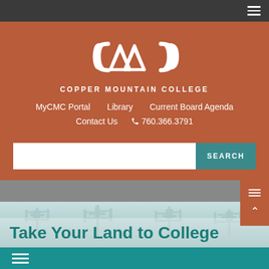[Figure (screenshot): Copper Mountain College website header screenshot showing logo, navigation links, search bar, hero image with Joshua trees, and tagline 'Take Your Land to College']
COPPER MOUNTAIN COLLEGE
MyCMC Portal   Library   Current Board Agenda
Contact Us   760.366.3791
SEARCH
Take Your Land to College